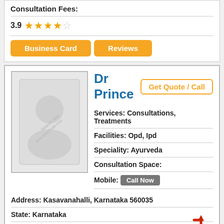Consultation Fees:
3.9 ★★★★☆
Business Card | Reviews
Dr Prince
Get Quote / Call
Services: Consultations, Treatments
Facilities: Opd, Ipd
Speciality: Ayurveda
Consultation Space:
Mobile: Call Now
Address: Kasavanahalli, Karnataka 560035
State: Karnataka
City: Bangalore
Location: Kasavanahalli
Pincode: 560035